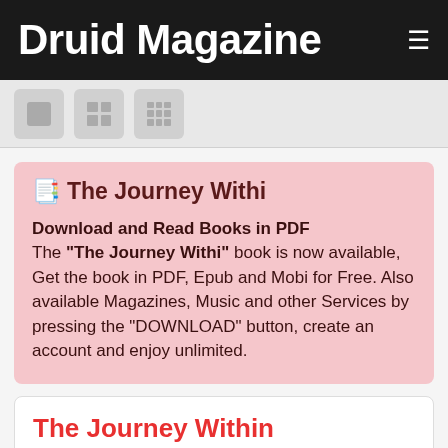Druid Magazine
[Figure (other): Toolbar with three view-toggle buttons: single, 2x2 grid, 3x3 grid icons]
🔖 The Journey Withi
Download and Read Books in PDF
The "The Journey Withi" book is now available, Get the book in PDF, Epub and Mobi for Free. Also available Magazines, Music and other Services by pressing the "DOWNLOAD" button, create an account and enjoy unlimited.
The Journey Within